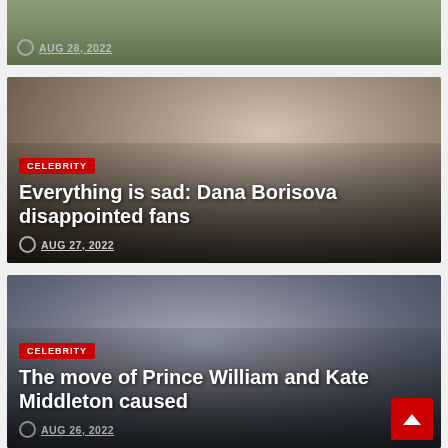[Figure (photo): Partial view of a photo with people on a sports field or outdoor area, showing only the top strip]
AUG 28, 2022
[Figure (photo): Portrait of Dana Borisova, a blonde woman looking over her shoulder]
CELEBRITY
Everything is sad: Dana Borisova disappointed fans
AUG 27, 2022
[Figure (photo): Photo of Prince William and Kate Middleton smiling together outdoors]
CELEBRITY
The move of Prince William and Kate Middleton caused
AUG 26, 2022